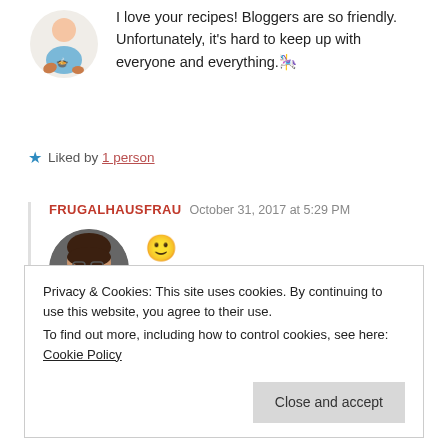I love your recipes! Bloggers are so friendly. Unfortunately, it's hard to keep up with everyone and everything. 🎠
★ Liked by 1 person
FRUGALHAUSFRAU   October 31, 2017 at 5:29 PM
[Figure (photo): Round avatar of a woman with glasses and brown hair]
🙂
★ Liked by 1 person
Privacy & Cookies: This site uses cookies. By continuing to use this website, you agree to their use. To find out more, including how to control cookies, see here: Cookie Policy
Close and accept